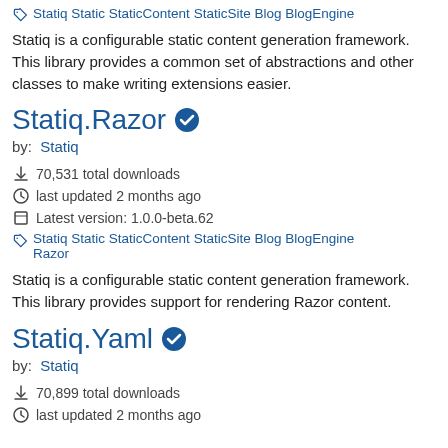Statiq Static StaticContent StaticSite Blog BlogEngine
Statiq is a configurable static content generation framework. This library provides a common set of abstractions and other classes to make writing extensions easier.
Statiq.Razor
by: Statiq
70,531 total downloads
last updated 2 months ago
Latest version: 1.0.0-beta.62
Statiq Static StaticContent StaticSite Blog BlogEngine Razor
Statiq is a configurable static content generation framework. This library provides support for rendering Razor content.
Statiq.Yaml
by: Statiq
70,899 total downloads
last updated 2 months ago